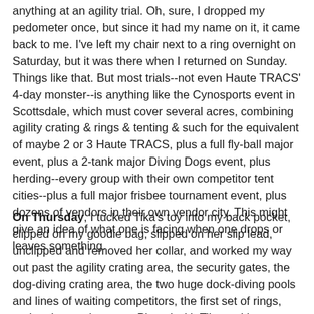anything at an agility trial. Oh, sure, I dropped my pedometer once, but since it had my name on it, it came back to me. I've left my chair next to a ring overnight on Saturday, but it was there when I returned on Sunday. Things like that. But most trials--not even Haute TRACS' 4-day monster--is anything like the Cynosports event in Scottsdale, which must cover several acres, combining agility crating & rings & tenting & such for the equivalent of maybe 2 or 3 Haute TRACS, plus a full fly-ball major event, plus a 2-tank major Diving Dogs event, plus herding--every group with their own competitor tent cities--plus a full major frisbee tournament event, plus dozens of vendors in their own vendor city. This might give an idea of what one is facing when one drops or leaves something.
On Thursday, I tucked Tika's toy into my back pocket, clipped on my goodie bag, slipped on her slip lead, unclipped and removed her collar, and worked my way out past the agility crating area, the security gates, the dog-diving crating area, the two huge dock-diving pools and lines of waiting competitors, the first set of rings, and to the staging area. Played with Tika and her toy. Ran our run, played with her